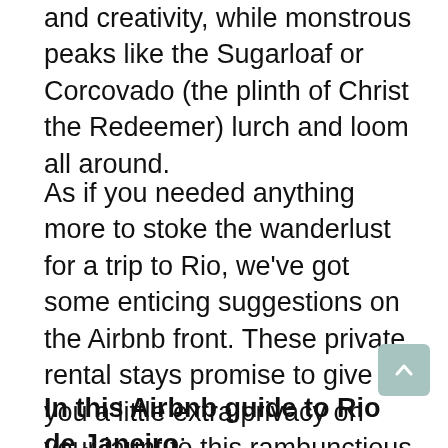and creativity, while monstrous peaks like the Sugarloaf or Corcovado (the plinth of Christ the Redeemer) lurch and loom all around.
As if you needed anything more to stoke the wanderlust for a trip to Rio, we've got some enticing suggestions on the Airbnb front. These private rental stays promise to give you a little extra privacy on your jaunt to this rambunctious Brazilian metropolis. They also represent good bang for your buck. Check out this guide for extra info on where to stay and what to expect...
In this Airbnb guide to Rio de Janeiro: